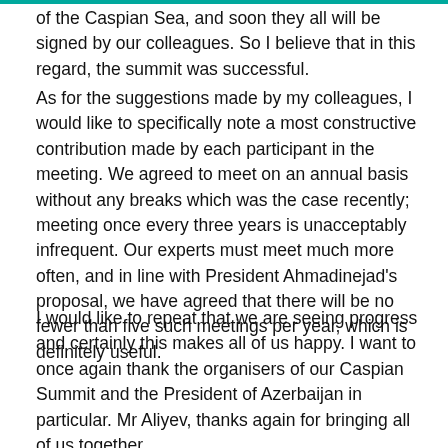of the Caspian Sea, and soon they all will be signed by our colleagues. So I believe that in this regard, the summit was successful.
As for the suggestions made by my colleagues, I would like to specifically note a most constructive contribution made by each participant in the meeting. We agreed to meet on an annual basis without any breaks which was the case recently; meeting once every three years is unacceptably infrequent. Our experts must meet much more often, and in line with President Ahmadinejad's proposal, we have agreed that there will be no fewer than five such meetings per year, which is definitely useful.
I would like to repeat that we are seeing progress and certainly this makes all of us happy. I want to once again thank the organisers of our Caspian Summit and the President of Azerbaijan in particular. Mr Aliyev, thanks again for bringing all of us together.